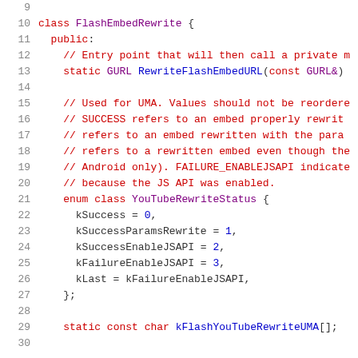[Figure (screenshot): Source code listing in C++ showing class FlashEmbedRewrite definition with line numbers 9-30, including public section with comments, enum class YouTubeRewriteStatus, and static member declarations.]